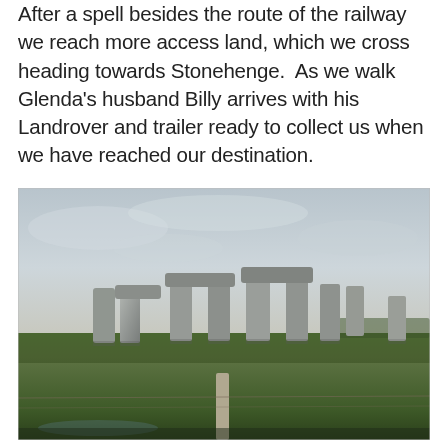After a spell besides the route of the railway we reach more access land, which we cross heading towards Stonehenge.  As we walk Glenda's husband Billy arrives with his Landrover and trailer ready to collect us when we have reached our destination.
[Figure (photo): Photograph of Stonehenge stone circle viewed from a distance across a green field. The ancient standing stones are visible against a pale grey overcast sky. In the foreground there is a wooden fence post and green grass. The scene is taken in natural daylight with muted tones.]